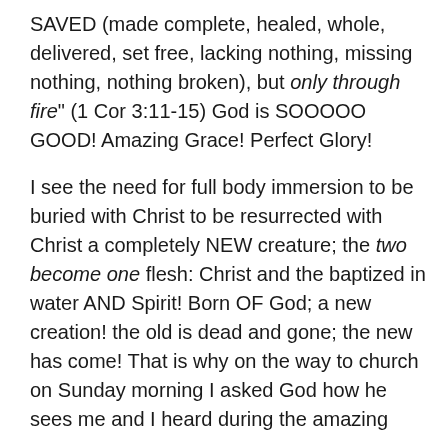SAVED (made complete, healed, whole, delivered, set free, lacking nothing, missing nothing, nothing broken), but only through fire" (1 Cor 3:11-15) God is SOOOOO GOOD! Amazing Grace! Perfect Glory!
I see the need for full body immersion to be buried with Christ to be resurrected with Christ a completely NEW creature; the two become one flesh: Christ and the baptized in water AND Spirit! Born OF God; a new creation! the old is dead and gone; the new has come! That is why on the way to church on Sunday morning I asked God how he sees me and I heard during the amazing worship time, “You are a spotless bride” and I heard and believed and testified before the congregation, “I am a spotless bride” with tears and great joy in the Holy Spirit!!!!!!!